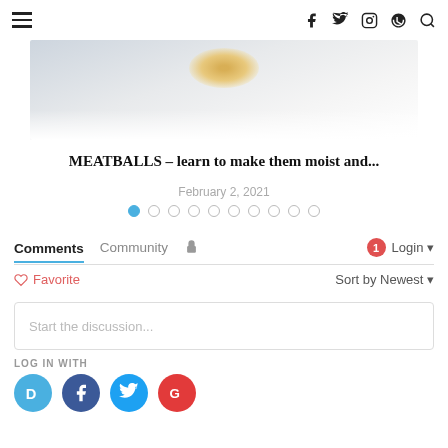≡  f  🐦  📷  𝗣  🔍
[Figure (photo): Top portion of a food photo, white plate with blurred golden meatball or food item visible at top, soft light background]
MEATBALLS – learn to make them moist and...
February 2, 2021
[Figure (infographic): Carousel pagination dots — one filled blue dot followed by nine empty circle dots]
Comments  Community  🔒  1  Login ▾
♡ Favorite  Sort by Newest ▾
Start the discussion...
LOG IN WITH
[Figure (logo): Four social login buttons: Disqus (blue D), Facebook (dark blue f), Twitter (light blue bird), Google (red G)]